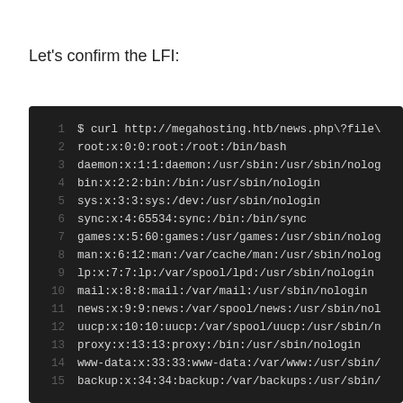Let's confirm the LFI:
[Figure (screenshot): Terminal/code block showing a curl command to http://megahosting.htb/news.php\?file\... followed by /etc/passwd file contents lines 1-15, displayed as a dark-themed code editor with line numbers.]